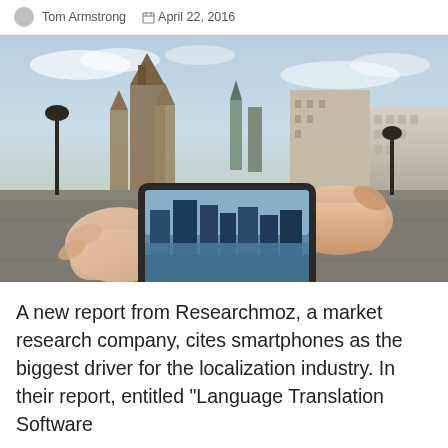Tom Armstrong  April 22, 2016
[Figure (photo): Photograph of a person holding a smartphone displaying a city skyline, with a European city (Prague) with Gothic towers and terracotta-roofed buildings visible in the background.]
A new report from Researchmoz, a market research company, cites smartphones as the biggest driver for the localization industry. In their report, entitled "Language Translation Software